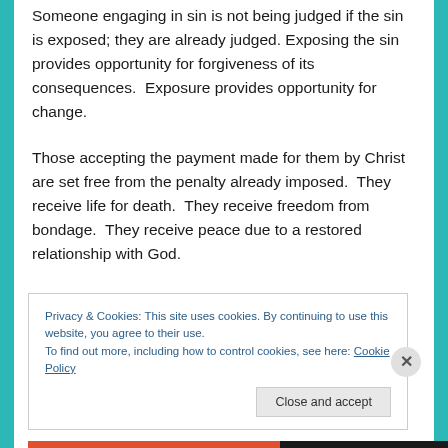Someone engaging in sin is not being judged if the sin is exposed; they are already judged. Exposing the sin provides opportunity for forgiveness of its consequences. Exposure provides opportunity for change.
Those accepting the payment made for them by Christ are set free from the penalty already imposed. They receive life for death. They receive freedom from bondage. They receive peace due to a restored relationship with God.
Privacy & Cookies: This site uses cookies. By continuing to use this website, you agree to their use.
To find out more, including how to control cookies, see here: Cookie Policy